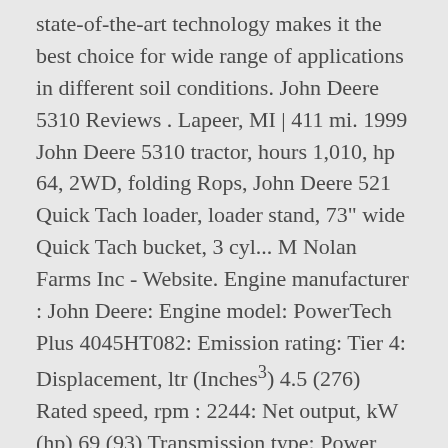state-of-the-art technology makes it the best choice for wide range of applications in different soil conditions. John Deere 5310 Reviews . Lapeer, MI | 411 mi. 1999 John Deere 5310 tractor, hours 1,010, hp 64, 2WD, folding Rops, John Deere 521 Quick Tach loader, loader stand, 73" wide Quick Tach bucket, 3 cyl... M Nolan Farms Inc - Website. Engine manufacturer : John Deere: Engine model: PowerTech Plus 4045HT082: Emission rating: Tier 4: Displacement, ltr (Inches³) 4.5 (276) Rated speed, rpm : 2244: Net output, kW (hp) 69 (93) Transmission type: Power Shift: Number of speeds - forward: 4: Number of speeds - ... The John Deere 5310 N can be grouped in the